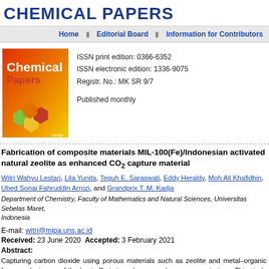CHEMICAL PAPERS
Home | Editorial Board | Information for Contributors
[Figure (illustration): Chemical Papers journal cover with orange-red gradient background, 'Chemical' in white bold text, 'Papers' in red bold text, and colored hexagonal molecular shapes at the bottom.]
ISSN print edition: 0366-6352
ISSN electronic edition: 1336-9075
Registr. No.: MK SR 9/7

Published monthly
Fabrication of composite materials MIL-100(Fe)/Indonesian activated natural zeolite as enhanced CO₂ capture material
Witri Wahyu Lestari, Lila Yunita, Teguh E. Saraswati, Eddy Heraldy, Moh Ali Khafidhin, Ubed Sonai Fahruddin Arrozi, and Grandprix T. M. Kadja
Department of Chemistry, Faculty of Mathematics and Natural Sciences, Universitas Sebelas Maret, Indonesia
E-mail: witri@mipa.uns.ac.id
Received: 23 June 2020  Accepted: 3 February 2021
Abstract:
Capturing carbon dioxide using porous materials such as zeolite and metal–organic frameworks is one of the best efforts to reduce greenhouse gas emissions. This study was aimed at investigating the addition of Indonesian activated natural zeolite (ANZ) into MOF-type Materials of Institut...